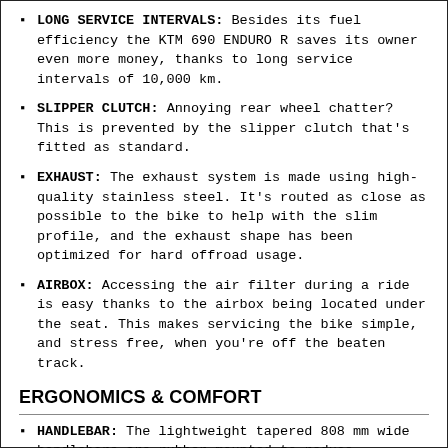LONG SERVICE INTERVALS: Besides its fuel efficiency the KTM 690 ENDURO R saves its owner even more money, thanks to long service intervals of 10,000 km.
SLIPPER CLUTCH: Annoying rear wheel chatter? This is prevented by the slipper clutch that's fitted as standard.
EXHAUST: The exhaust system is made using high-quality stainless steel. It's routed as close as possible to the bike to help with the slim profile, and the exhaust shape has been optimized for hard offroad usage.
AIRBOX: Accessing the air filter during a ride is easy thanks to the airbox being located under the seat. This makes servicing the bike simple, and stress free, when you're off the beaten track.
ERGONOMICS & COMFORT
HANDLEBAR: The lightweight tapered 808 mm wide handlebars are rubber mounted to reduce vibrations. Their width and shape are aimed at providing maximum control in all situations.